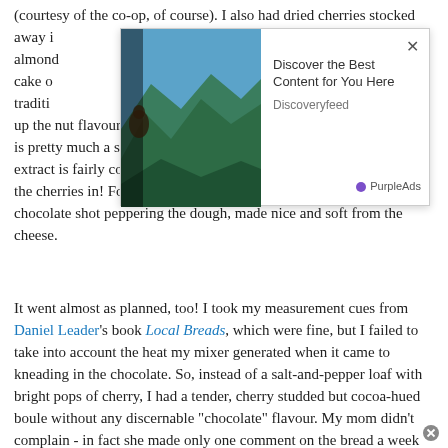(courtesy of the co-op, of course). I also had dried cherries stocked away i[...ad overlay...]ound almond[...]rot cake o[...](also traditi[...]play up the nut flavour with as many angles as I could find. Almond milk is pretty much a staple around here, and as I am a baker almond extract is fairly commonplace too. I even had some Amaretto to soak the cherries in! For the chocolate element I envisioned flecks of chocolate shot peppering the dough, made nice and soft from the cheese.
[Figure (screenshot): Advertisement overlay showing a mountain landscape photo on the left and text 'Discover the Best Content for You Here' / 'Discoveryfeed' on the right, with a PurpleAds badge and close (X) button.]
It went almost as planned, too! I took my measurement cues from Daniel Leader's book Local Breads, which were fine, but I failed to take into account the heat my mixer generated when it came to kneading in the chocolate. So, instead of a salt-and-pepper loaf with bright pops of cherry, I had a tender, cherry studded but cocoa-hued boule without any discernable "chocolate" flavour. My mom didn't complain - in fact she made only one comment on the bread a week after she finished it - "I'm out of bread, that last loaf was good! What did you put into it?"